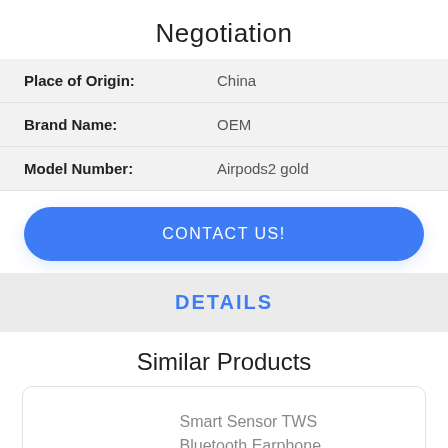Negotiation
| Field | Value |
| --- | --- |
| Place of Origin: | China |
| Brand Name: | OEM |
| Model Number: | Airpods2 gold |
CONTACT US!
DETAILS
Similar Products
Smart Sensor TWS Bluetooth Earphone ,